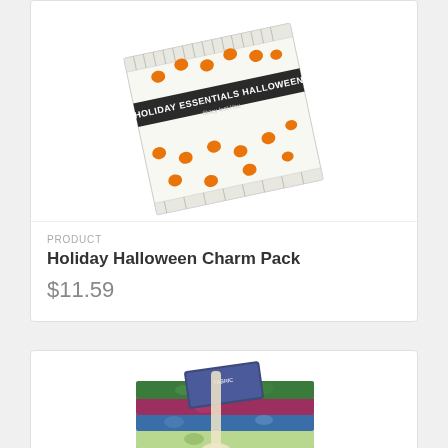[Figure (photo): A charm pack fabric bundle with pumpkin pattern labeled 'Holiday Essentials Halloween' by Stacy Iest Hsu, shown at an angle]
PRODUCT
Holiday Halloween Charm Pack
$11.59
[Figure (photo): A fat quarter fabric bundle with floral patterns in greens, blues, pinks, and creams, tied with a ribbon]